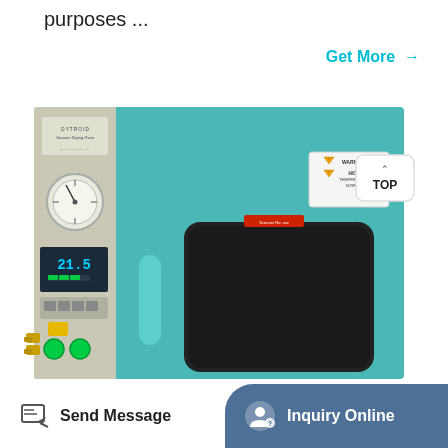purposes ...
Get More →
[Figure (photo): Vacuum Drying Oven laboratory equipment with teal/blue front panel, pressure gauge, digital temperature controller showing 21.5, green power buttons, brass fittings, and a viewing window. A WARNING HIGH TEMPERATURE sticker is visible on the front door. A TOP button overlay is shown in the top-right.]
Send Message   Inquiry Online